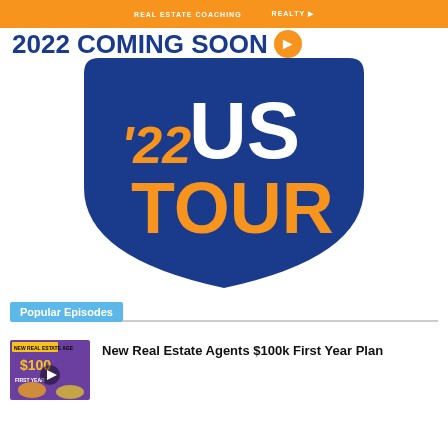REAL ESTATE COACHING   REALTY
2022 COMING SOON
[Figure (logo): Blue shield/badge logo with '22 US TOUR text in orange and white on blue background]
Popular Episodes
[Figure (photo): Thumbnail for New Real Estate Agents $100k First Year Plan episode showing two people on purple background]
New Real Estate Agents $100k First Year Plan